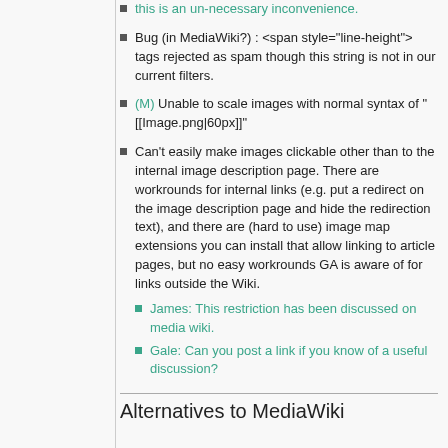this is an un-necessary inconvenience.
Bug (in MediaWiki?) : <span style="line-height"> tags rejected as spam though this string is not in our current filters.
(M) Unable to scale images with normal syntax of "[[Image.png|60px]]"
Can't easily make images clickable other than to the internal image description page. There are workrounds for internal links (e.g. put a redirect on the image description page and hide the redirection text), and there are (hard to use) image map extensions you can install that allow linking to article pages, but no easy workrounds GA is aware of for links outside the Wiki.
James: This restriction has been discussed on media wiki.
Gale: Can you post a link if you know of a useful discussion?
Alternatives to MediaWiki